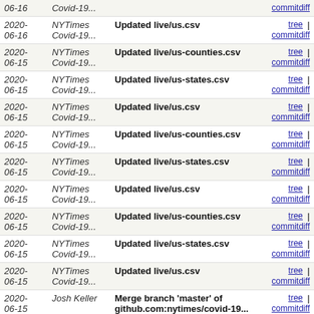| Date | Author | Message | Links |
| --- | --- | --- | --- |
| 2020-06-16 | NYTimes Covid-19... | Updated live/us.csv | tree | commitdiff |
| 2020-06-15 | NYTimes Covid-19... | Updated live/us-counties.csv | tree | commitdiff |
| 2020-06-15 | NYTimes Covid-19... | Updated live/us-states.csv | tree | commitdiff |
| 2020-06-15 | NYTimes Covid-19... | Updated live/us.csv | tree | commitdiff |
| 2020-06-15 | NYTimes Covid-19... | Updated live/us-counties.csv | tree | commitdiff |
| 2020-06-15 | NYTimes Covid-19... | Updated live/us-states.csv | tree | commitdiff |
| 2020-06-15 | NYTimes Covid-19... | Updated live/us.csv | tree | commitdiff |
| 2020-06-15 | NYTimes Covid-19... | Updated live/us-counties.csv | tree | commitdiff |
| 2020-06-15 | NYTimes Covid-19... | Updated live/us-states.csv | tree | commitdiff |
| 2020-06-15 | NYTimes Covid-19... | Updated live/us.csv | tree | commitdiff |
| 2020-06-15 | Josh Keller | Merge branch 'master' of github.com:nytimes/covid-19... | tree | commitdiff |
| 2020-06-15 | NYTimes Covid-19... | Updated live/us-counties.csv | tree | commitdiff |
| 2020-06-15 | NYTimes Covid-19... | Updated live/us-states.csv | tree | commitdiff |